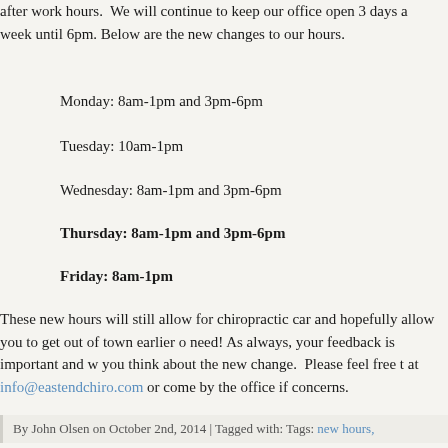after work hours. We will continue to keep our office open 3 days a week until 6pm. Below are the new changes to our hours.
Monday: 8am-1pm and 3pm-6pm
Tuesday: 10am-1pm
Wednesday: 8am-1pm and 3pm-6pm
Thursday: 8am-1pm and 3pm-6pm
Friday: 8am-1pm
These new hours will still allow for chiropractic car and hopefully allow you to get out of town earlier o need! As always, your feedback is important and w you think about the new change. Please feel free t at info@eastendchiro.com or come by the office if concerns.
By John Olsen on October 2nd, 2014 | Tagged with: Tags: new hours,